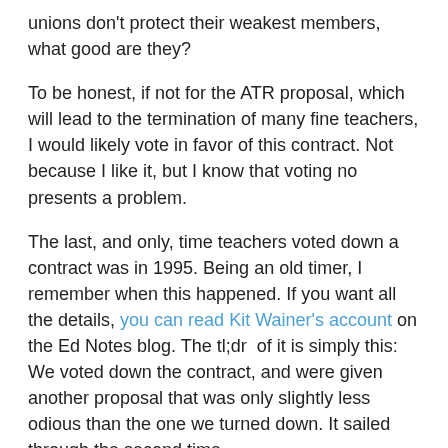unions don't protect their weakest members, what good are they?
To be honest, if not for the ATR proposal, which will lead to the termination of many fine teachers, I would likely vote in favor of this contract. Not because I like it, but I know that voting no presents a problem.
The last, and only, time teachers voted down a contract was in 1995. Being an old timer, I remember when this happened. If you want all the details, you can read Kit Wainer's account on the Ed Notes blog. The tl;dr of it is simply this: We voted down the contract, and were given another proposal that was only slightly less odious than the one we turned down. It sailed through the second time.
The current proposal faces the same "No" problem. If we vote it down, what will be the outcome? Will we get more money? I doubt it. Maybe the city would agree to move one of the retro payments up a year, or the $1000 signing bribe would become a $1200 signing bribe, but that would be about all we'd get. And the revised contract would sail